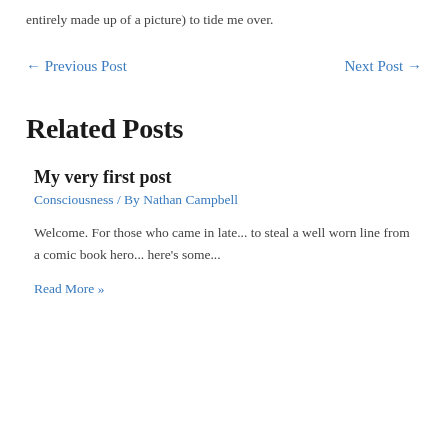entirely made up of a picture) to tide me over.
← Previous Post    Next Post →
Related Posts
My very first post
Consciousness / By Nathan Campbell
Welcome. For those who came in late... to steal a well worn line from a comic book hero... here's some...
Read More »